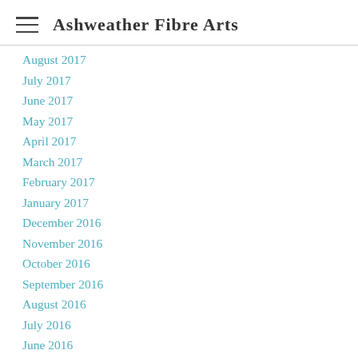Ashweather Fibre Arts
August 2017
July 2017
June 2017
May 2017
April 2017
March 2017
February 2017
January 2017
December 2016
November 2016
October 2016
September 2016
August 2016
July 2016
June 2016
May 2016
April 2016